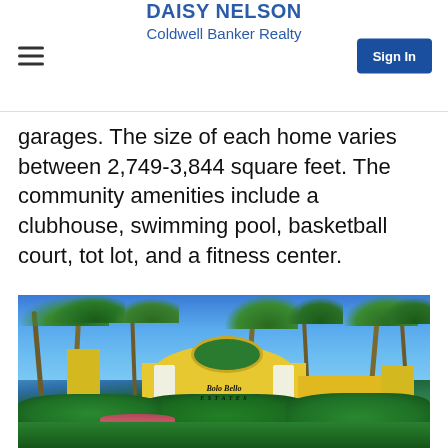DAISY NELSON
Coldwell Banker Realty
garages. The size of each home varies between 2,749-3,844 square feet. The community amenities include a clubhouse, swimming pool, basketball court, tot lot, and a fitness center.
[Figure (photo): Entrance gate of Bolo Bello Estates community with a yellow arch structure, palm trees, lush green landscaping, and blue sky in the background.]